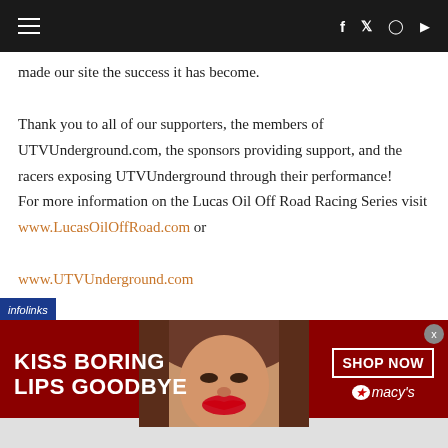Navigation bar with hamburger menu and social icons (f, twitter, instagram, youtube)
made our site the success it has become.
Thank you to all of our supporters, the members of UTVUnderground.com, the sponsors providing support, and the racers exposing UTVUnderground through their performance!
For more information on the Lucas Oil Off Road Racing Series visit www.LucasOilOffRoad.com or www.UTVUnderground.com
[Figure (infographic): Macy's advertisement banner: 'KISS BORING LIPS GOODBYE' with SHOP NOW button and Macy's star logo, featuring a woman's face with red lips in background]